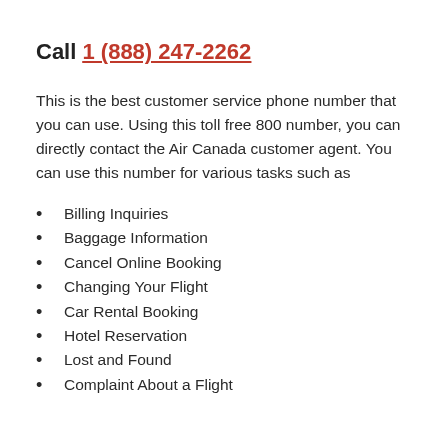Call 1 (888) 247-2262
This is the best customer service phone number that you can use. Using this toll free 800 number, you can directly contact the Air Canada customer agent. You can use this number for various tasks such as
Billing Inquiries
Baggage Information
Cancel Online Booking
Changing Your Flight
Car Rental Booking
Hotel Reservation
Lost and Found
Complaint About a Flight